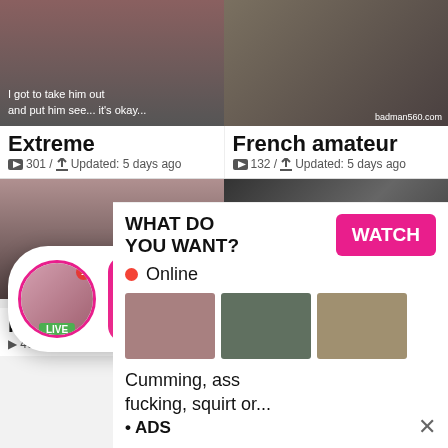[Figure (screenshot): Adult video thumbnail - Extreme category]
Extreme
301 / Updated: 5 days ago
[Figure (screenshot): Adult video thumbnail - French amateur category, badman560.com watermark]
French amateur
132 / Updated: 5 days ago
[Figure (screenshot): Adult video thumbnail - French category partial]
[Figure (screenshot): Adult video thumbnail - GFs.TV watermark]
[Figure (screenshot): Ad overlay: Angel is typing notification with LIVE badge]
ADS
Angel is typing ... 💬
(1) unread message
Fre...
40...
[Figure (screenshot): Ad overlay: WHAT DO YOU WANT? with WATCH button and adult content thumbnails]
WHAT DO YOU WANT?
Online
Cumming, ass fucking, squirt or...
• ADS